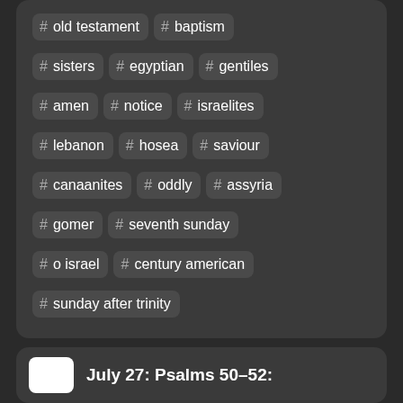# old testament
# baptism
# sisters
# egyptian
# gentiles
# amen
# notice
# israelites
# lebanon
# hosea
# saviour
# canaanites
# oddly
# assyria
# gomer
# seventh sunday
# o israel
# century american
# sunday after trinity
July 27: Psalms 50–52: